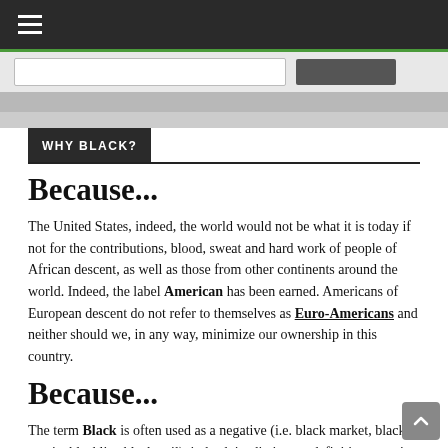☰
WHY BLACK?
Because...
The United States, indeed, the world would not be what it is today if not for the contributions, blood, sweat and hard work of people of African descent, as well as those from other continents around the world. Indeed, the label American has been earned. Americans of European descent do not refer to themselves as Euro-Americans and neither should we, in any way, minimize our ownership in this country.
Because...
The term Black is often used as a negative (i.e. black market, black magic, blacklist, blackmail), indeed, its dictionary definition contains phrases like soiled, harmful and without moral light or goodness. If Black children are to grow up with pride then the